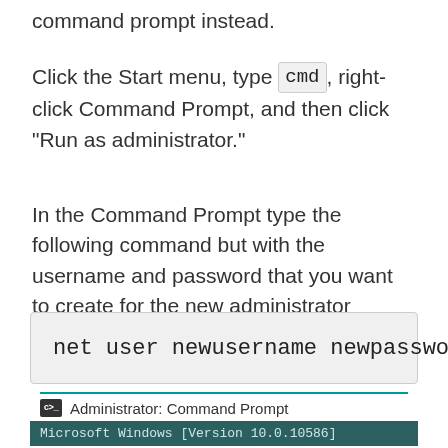command prompt instead.
Click the Start menu, type cmd, right-click Command Prompt, and then click “Run as administrator.”
In the Command Prompt type the following command but with the username and password that you want to create for the new administrator account:
[Figure (screenshot): Code box showing command: net user newusername newpassword /ac]
[Figure (screenshot): Administrator Command Prompt window title bar with teal divider line and partial command prompt window showing Microsoft Windows version text]